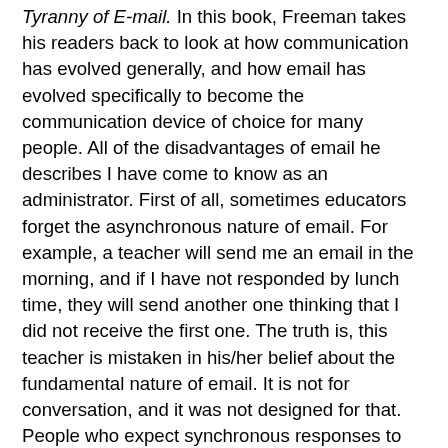Tyranny of E-mail. In this book, Freeman takes his readers back to look at how communication has evolved generally, and how email has evolved specifically to become the communication device of choice for many people. All of the disadvantages of email he describes I have come to know as an administrator. First of all, sometimes educators forget the asynchronous nature of email. For example, a teacher will send me an email in the morning, and if I have not responded by lunch time, they will send another one thinking that I did not receive the first one. The truth is, this teacher is mistaken in his/her belief about the fundamental nature of email. It is not for conversation, and it was not designed for that. People who expect synchronous responses to email should use the phone instead. A second problem regarding email I have encountered as an administrator is another problem Freeman describes is called “flaming.” For example, on several occasions I have received a volatile email from a parent or teacher that says things that few would rarely say in person, much less in writing. My own personal tendency in these instances is to pound out a response to this email and send. The problem is, most of the time it is best if I wait before sending a response. I need to think more carefully about what and what to avoid. It is impossible to recall a